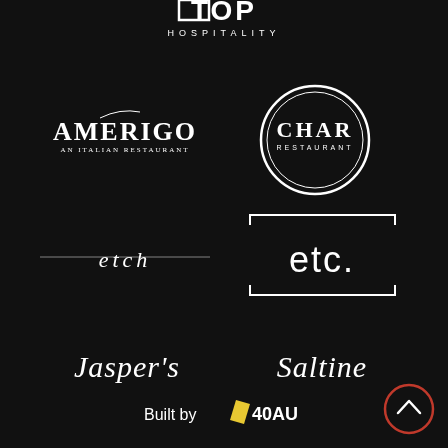[Figure (logo): TOP HOSPITALITY logo in white on black background, partially cropped at top]
[Figure (logo): AMERIGO An Italian Restaurant logo in white, stylized serif lettering on black]
[Figure (logo): CHAR RESTAURANT logo inside a white circle on black background]
[Figure (logo): etch logo in lowercase script/handwritten white lettering on black]
[Figure (logo): etc. logo in white lowercase sans-serif inside a bracket-like rectangle on black]
[Figure (logo): Jasper's logo in white cursive/script lettering on black]
[Figure (logo): Saltine logo in white cursive/script lettering on black]
[Figure (logo): Built by 40AU logo with yellow diamond shape and white text on black]